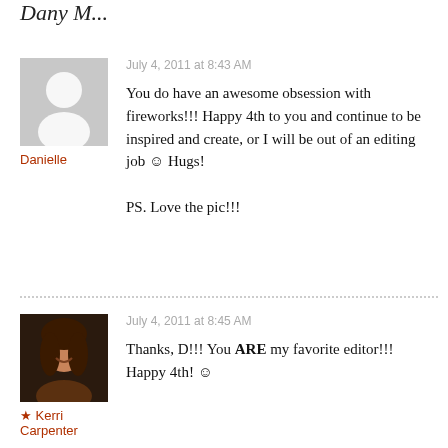Danielle
July 4, 2011 at 8:43 AM
You do have an awesome obsession with fireworks!!! Happy 4th to you and continue to be inspired and create, or I will be out of an editing job 🙂 Hugs!

PS. Love the pic!!!
★ Kerri Carpenter
July 4, 2011 at 8:45 AM
Thanks, D!!! You ARE my favorite editor!!! Happy 4th! ☺